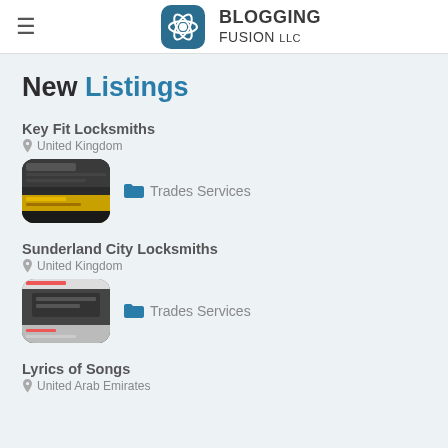Blogging Fusion LLC
New Listings
Key Fit Locksmiths — United Kingdom — Trades Services
Sunderland City Locksmiths — United Kingdom — Trades Services
Lyrics of Songs — United Arab Emirates